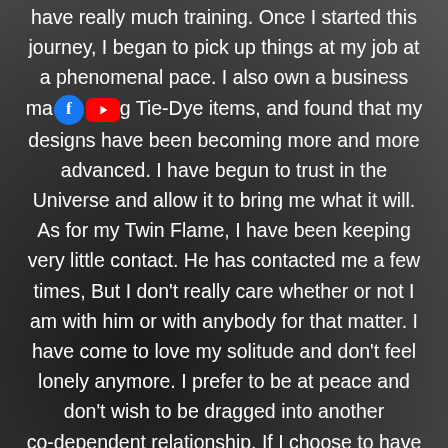have really much training. Once I started this journey, I began to pick up things at my job at a phenomenal pace. I also own a business making Tie-Dye items, and found that my designs have been becoming more and more advanced. I have begun to trust in the Universe and allow it to bring me what it will. As for my Twin Flame, I have been keeping very little contact. He has contacted me a few times, But I don't really care whether or not I am with him or with anybody for that matter. I have come to love my solitude and don't feel lonely anymore. I prefer to be at peace and don't wish to be dragged into another co-dependent relationship. If I choose to have a relationship in the future, I know that it will be one that is "outside of the box" and definitely